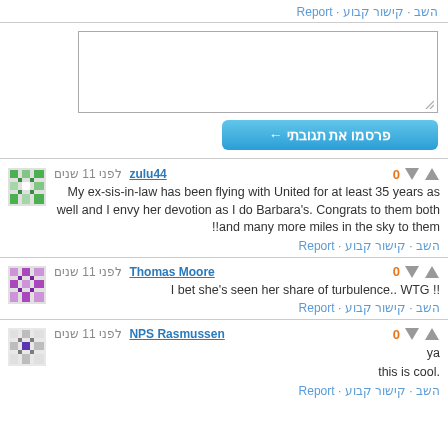השב · קישור קבוע · Report
[Figure (screenshot): Text area input box for comment]
פרסמו את תגובתי ←
zulu44 לפני 11 שנים
My ex-sis-in-law has been flying with United for at least 35 years as well and I envy her devotion as I do Barbara's. Congrats to them both and many more miles in the sky to them!!
השב · קישור קבוע · Report
Thomas Moore לפני 11 שנים
!! I bet she's seen her share of turbulence.. WTG
השב · קישור קבוע · Report
NPS Rasmussen לפני 11 שנים
ya
.this is cool
השב · קישור קבוע · Report